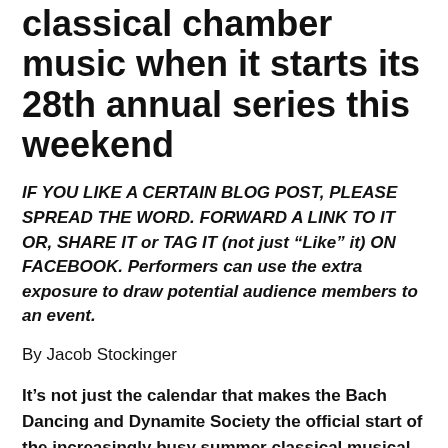classical chamber music when it starts its 28th annual series this weekend
IF YOU LIKE A CERTAIN BLOG POST, PLEASE SPREAD THE WORD. FORWARD A LINK TO IT OR, SHARE IT or TAG IT (not just “Like” it) ON FACEBOOK. Performers can use the extra exposure to draw potential audience members to an event.
By Jacob Stockinger
It’s not just the calendar that makes the Bach Dancing and Dynamite Society the official start of the increasingly busy summer classical musical season in Madison.